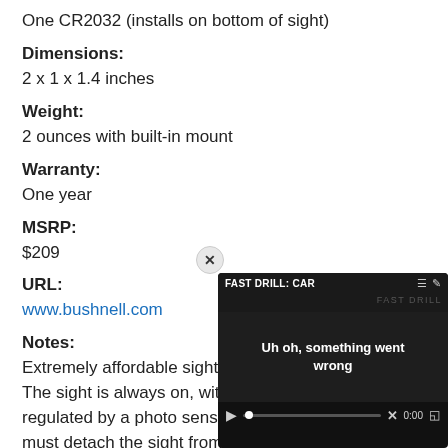One CR2032 (installs on bottom of sight)
Dimensions:
2 x 1 x 1.4 inches
Weight:
2 ounces with built-in mount
Warranty:
One year
MSRP:
$209
URL:
www.bushnell.com
Notes:
Extremely affordable sight... The sight is always on, wit... regulated by a photo sens... must detach the sight from...
[Figure (screenshot): Embedded video player overlay showing error message 'Uh oh, something went wrong' with title 'FAST DRILL: CAR' and video playback controls at 0:00]